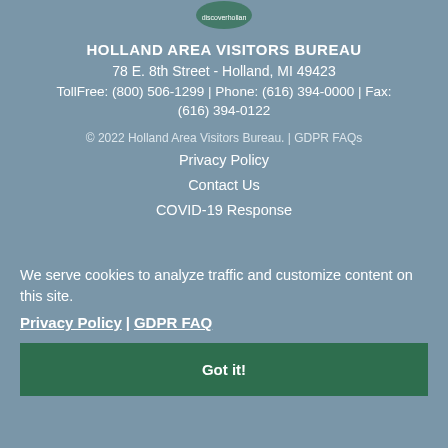[Figure (logo): Discover Holland circular logo partially visible at top]
HOLLAND AREA VISITORS BUREAU
78 E. 8th Street - Holland, MI 49423
TollFree: (800) 506-1299 | Phone: (616) 394-0000 | Fax: (616) 394-0122
© 2022 Holland Area Visitors Bureau. | GDPR FAQs
Privacy Policy
Contact Us
COVID-19 Response
We serve cookies to analyze traffic and customize content on this site.
Privacy Policy  |  GDPR FAQ
Got it!